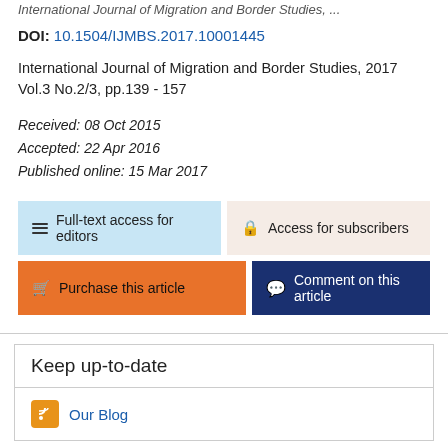International Journal of Migration and Border Studies, ...
DOI: 10.1504/IJMBS.2017.10001445
International Journal of Migration and Border Studies, 2017 Vol.3 No.2/3, pp.139 - 157
Received: 08 Oct 2015
Accepted: 22 Apr 2016
Published online: 15 Mar 2017
[Figure (other): Full-text access for editors button (light blue)]
[Figure (other): Access for subscribers button (light beige)]
[Figure (other): Purchase this article button (orange)]
[Figure (other): Comment on this article button (dark blue)]
Keep up-to-date
Our Blog